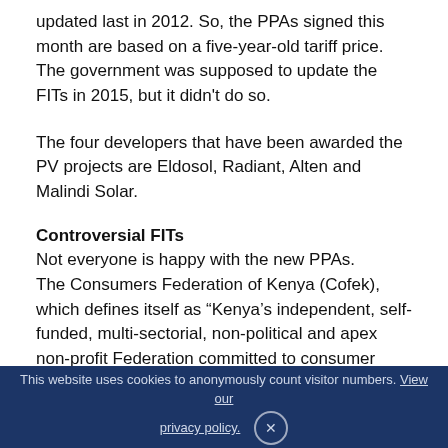updated last in 2012. So, the PPAs signed this month are based on a five-year-old tariff price. The government was supposed to update the FITs in 2015, but it didn't do so.
The four developers that have been awarded the PV projects are Eldosol, Radiant, Alten and Malindi Solar.
Controversial FITs
Not everyone is happy with the new PPAs.
The Consumers Federation of Kenya (Cofek), which defines itself as “Kenya’s independent, self-funded, multi-sectorial, non-political and apex non-profit Federation committed to consumer protection,” and has over 115,000 followers in Twitter has accused the
This website uses cookies to anonymously count visitor numbers. View our privacy policy.